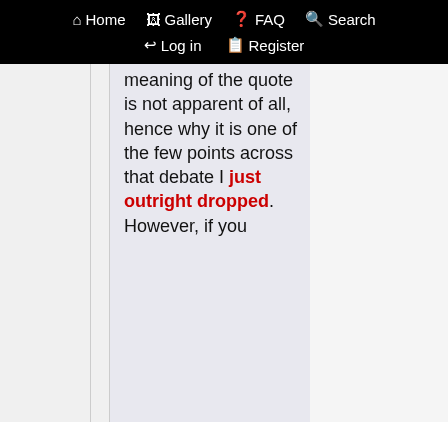Home  Gallery  FAQ  Search  Log in  Register
meaning of the quote is not apparent of all, hence why it is one of the few points across that debate I just outright dropped. However, if you